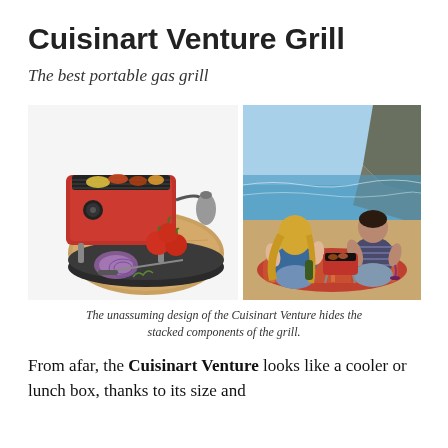Cuisinart Venture Grill
The best portable gas grill
[Figure (photo): Left: Cuisinart Venture portable red grill with cutting board base, tomatoes, onion, and knife on the board. Right: A man and woman sitting on a beach using the red Cuisinart Venture grill, with rocky coastline and blue sky in the background.]
The unassuming design of the Cuisinart Venture hides the stacked components of the grill.
From afar, the Cuisinart Venture looks like a cooler or lunch box, thanks to its size and